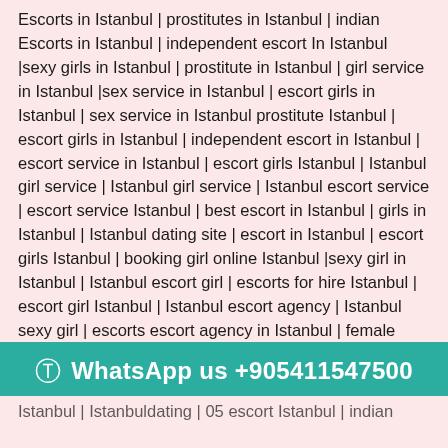Escorts in Istanbul | prostitutes in Istanbul | indian Escorts in Istanbul | independent escort In Istanbul |sexy girls in Istanbul | prostitute in Istanbul | girl service in Istanbul |sex service in Istanbul | escort girls in Istanbul | sex service in Istanbul prostitute Istanbul | escort girls in Istanbul | independent escort in Istanbul | escort service in Istanbul | escort girls Istanbul | Istanbul girl service | Istanbul girl service | Istanbul escort service | escort service Istanbul | best escort in Istanbul | girls in Istanbul | Istanbul dating site | escort in Istanbul | escort girls Istanbul | booking girl online Istanbul |sexy girl in Istanbul | Istanbul escort girl | escorts for hire Istanbul | escort girl Istanbul | Istanbul escort agency | Istanbul sexy girl | escorts escort agency in Istanbul | female escort in Istanbul | Istanbul female escort | indian escort Istanbul | Istanbul girls | escort in Istanbul | escort
Istanbul | Istanbuldating | 05 escort Istanbul | indian